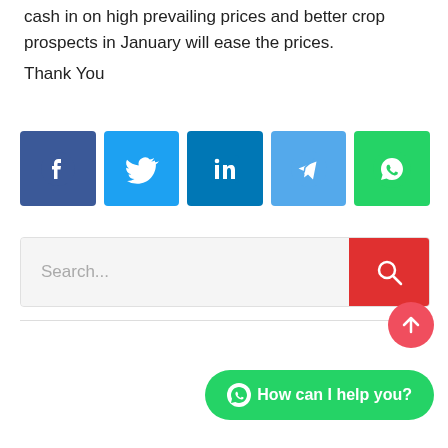cash in on high prevailing prices and better crop prospects in January will ease the prices.
Thank You
[Figure (infographic): Row of 5 social media share buttons: Facebook (dark blue), Twitter (light blue), LinkedIn (dark teal blue), Telegram (light blue), WhatsApp (green), each with their respective logos in white.]
[Figure (infographic): Search bar with placeholder text 'Search...' on a light grey background, with a red search button containing a white magnifying glass icon on the right.]
[Figure (infographic): Scroll-to-top button: red/pink circle with white upward arrow icon, positioned bottom-right.]
[Figure (infographic): WhatsApp chat button: green rounded rectangle with WhatsApp icon and text 'How can I help you?' in white, positioned bottom-right.]